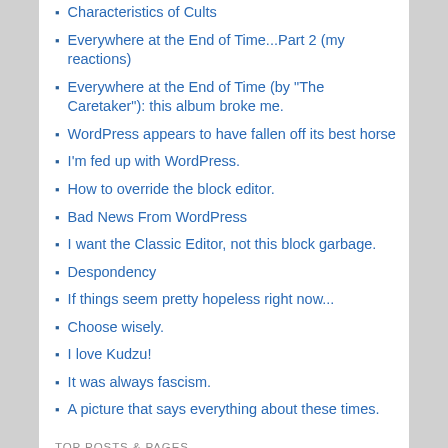Characteristics of Cults
Everywhere at the End of Time...Part 2 (my reactions)
Everywhere at the End of Time (by "The Caretaker"): this album broke me.
WordPress appears to have fallen off its best horse
I'm fed up with WordPress.
How to override the block editor.
Bad News From WordPress
I want the Classic Editor, not this block garbage.
Despondency
If things seem pretty hopeless right now...
Choose wisely.
I love Kudzu!
It was always fascism.
A picture that says everything about these times.
TOP POSTS & PAGES
12 weird things you might see a narcissist do.
What she says...what she really means.
Why family scapegoats become lifelong victims.
10 things that make your blog suck.